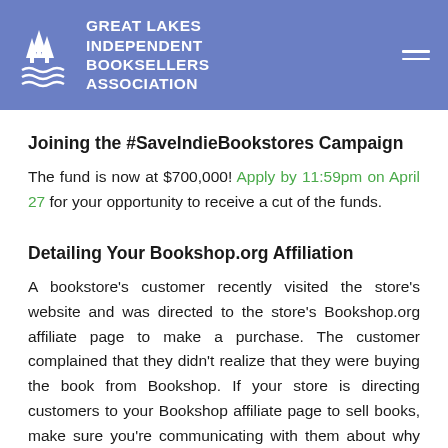GREAT LAKES INDEPENDENT BOOKSELLERS ASSOCIATION
Joining the #SaveIndieBookstores Campaign
The fund is now at $700,000! Apply by 11:59pm on April 27 for your opportunity to receive a cut of the funds.
Detailing Your Bookshop.org Affiliation
A bookstore's customer recently visited the store's website and was directed to the store's Bookshop.org affiliate page to make a purchase. The customer complained that they didn't realize that they were buying the book from Bookshop. If your store is directing customers to your Bookshop affiliate page to sell books, make sure you're communicating with them about why they're being